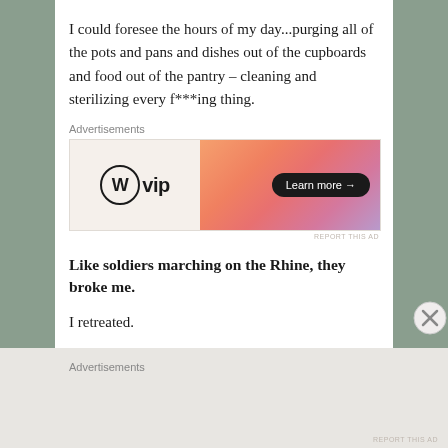I could foresee the hours of my day...purging all of the pots and pans and dishes out of the cupboards and food out of the pantry – cleaning and sterilizing every f***ing thing.
[Figure (screenshot): WordPress VIP advertisement banner with logo on left and gradient orange-pink background on right with 'Learn more →' button]
Like soldiers marching on the Rhine, they broke me.
I retreated.
I waved the white flag.
But it was only a strategy designed to divert those little